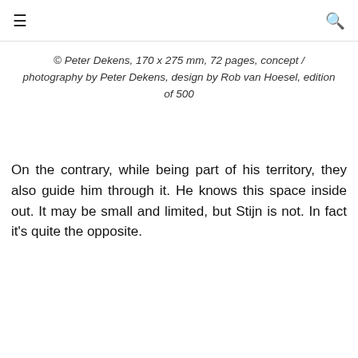≡  🔍
© Peter Dekens, 170 x 275 mm, 72 pages, concept / photography by Peter Dekens, design by Rob van Hoesel, edition of 500
On the contrary, while being part of his territory, they also guide him through it. He knows this space inside out. It may be small and limited, but Stijn is not. In fact it’s quite the opposite.